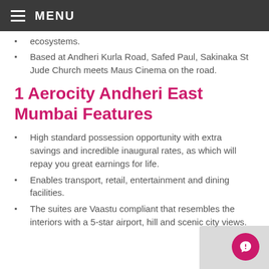MENU
ecosystems.
Based at Andheri Kurla Road, Safed Paul, Sakinaka St Jude Church meets Maus Cinema on the road.
1 Aerocity Andheri East Mumbai Features
High standard possession opportunity with extra savings and incredible inaugural rates, as which will repay you great earnings for life.
Enables transport, retail, entertainment and dining facilities.
The suites are Vaastu compliant that resembles the interiors with a 5-star airport, hill and scenic city views.